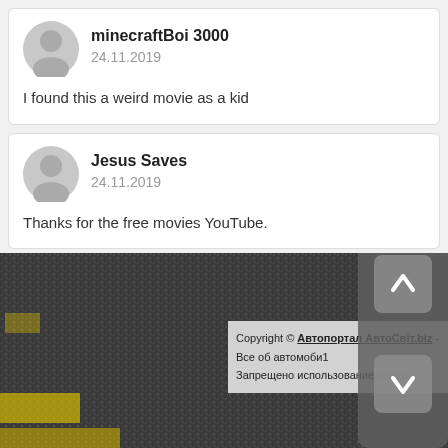minecraftBoi 3000
24.11.2019
I found this a weird movie as a kid
Jesus Saves
24.11.2019
Thanks for the free movies YouTube.
Copyright © Автопортал АвтоСвіт.biz - Все об автомобі... Запрещено использование матер...